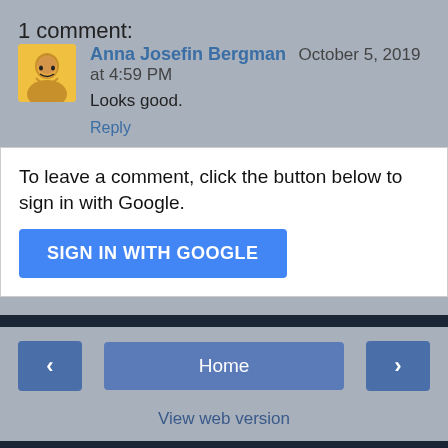1 comment:
Anna Josefin Bergman October 5, 2019 at 4:59 PM
Looks good.
Reply
To leave a comment, click the button below to sign in with Google.
[Figure (screenshot): SIGN IN WITH GOOGLE button (blue)]
Home
View web version
Powered by Blogger.